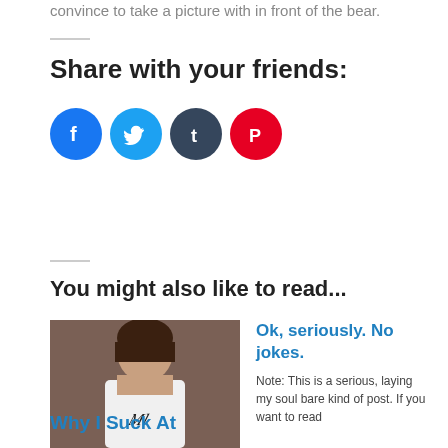convince to take a picture with in front of the bear.
Share with your friends:
[Figure (infographic): Four social media share buttons: Facebook (blue), Twitter (light blue), Tumblr (dark blue-gray), Pinterest (red), each as a filled circle with white icon.]
You might also like to read...
[Figure (photo): Photo of a person wearing a white t-shirt with a monogram logo.]
Ok, seriously. No jokes.
Note: This is a serious, laying my soul bare kind of post. If you want to read
Why I Suck At